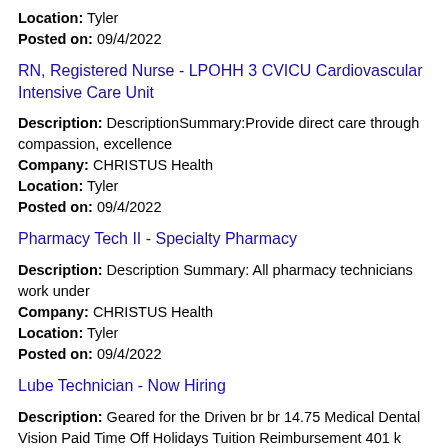Location: Tyler
Posted on: 09/4/2022
RN, Registered Nurse - LPOHH 3 CVICU Cardiovascular Intensive Care Unit
Description: DescriptionSummary:Provide direct care through compassion, excellence
Company: CHRISTUS Health
Location: Tyler
Posted on: 09/4/2022
Pharmacy Tech II - Specialty Pharmacy
Description: Description Summary: All pharmacy technicians work under
Company: CHRISTUS Health
Location: Tyler
Posted on: 09/4/2022
Lube Technician - Now Hiring
Description: Geared for the Driven br br 14.75 Medical Dental Vision Paid Time Off Holidays Tuition Reimbursement 401 k Savings with Match Back-up Family Care br br What You'll Do: br (more...)
Company: Valvoline Instant Oil Change